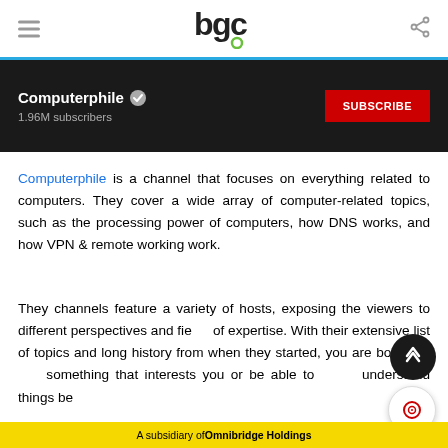bgc logo header with hamburger menu and share icon
[Figure (screenshot): YouTube channel banner showing Computerphile channel with 1.96M subscribers and a red SUBSCRIBE button on dark background]
Computerphile is a channel that focuses on everything related to computers. They cover a wide array of computer-related topics, such as the processing power of computers, how DNS works, and how VPN & remote working work.
They channels feature a variety of hosts, exposing the viewers to different perspectives and fields of expertise. With their extensive list of topics and long history from when they started, you are bound to find something that interests you or be able to better understand things be...
A subsidiary of Omnibridge Holdings